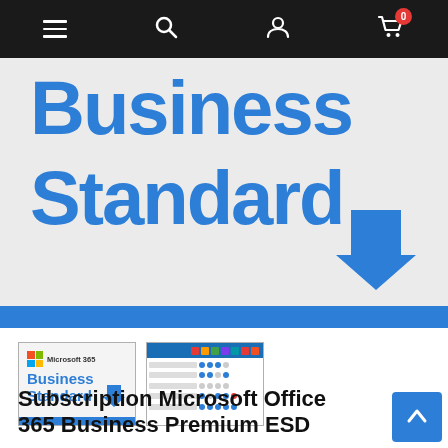Navigation bar with menu, search, user account, and shopping cart (0 items)
[Figure (illustration): Microsoft 365 Business Standard product hero image showing 'Business Standard' in large blue text on light grey background with a blue download arrow and blue bar at bottom]
[Figure (illustration): Thumbnail 1: Microsoft 365 Business Standard box art with logo, blue text and download arrow]
[Figure (table-as-image): Thumbnail 2: Comparison table screenshot showing feature columns with checkmarks]
Subscription Microsoft Office 365 Business Premium ESD